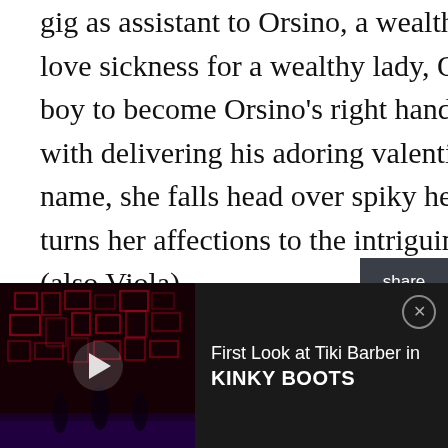gig as assistant to Orsino, a wealthy Floridian with a serious case of love sickness for a wealthy lady, Olivia. Having disguised herself as a boy to become Orsino's right hand man, Viola (now Cesario) is tasked with delivering his adoring valentines. But as Viola woos in her boss's name, she falls head over spiky heels for the man himself, while Olivia turns her affections to the intriguing young messenger boy, Cesario (also Viola).
Set to the rhythms of house, Cuban and '90s beats, Saheem Ali directs this colorful comedy about the power of new people and new experiences that throw the world into beautiful disarray, and open hearts and
[Figure (screenshot): Share sidebar with Twitter and Facebook icons on dark background]
[Figure (screenshot): Advertisement bar at bottom: video thumbnail of dark theater stage with play button, text reading 'First Look at Tiki Barber in KINKY BOOTS', close button]